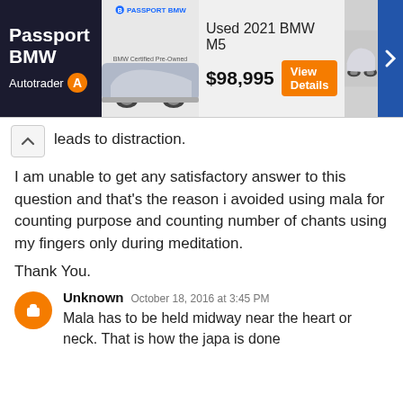[Figure (screenshot): Passport BMW advertisement banner on Autotrader showing a Used 2021 BMW M5 priced at $98,995 with a View Details button and a car image]
leads to distraction.
I am unable to get any satisfactory answer to this question and that's the reason i avoided using mala for counting purpose and counting number of chants using my fingers only during meditation.
Thank You.
Unknown  October 18, 2016 at 3:45 PM
Mala has to be held midway near the heart or neck. That is how the japa is done